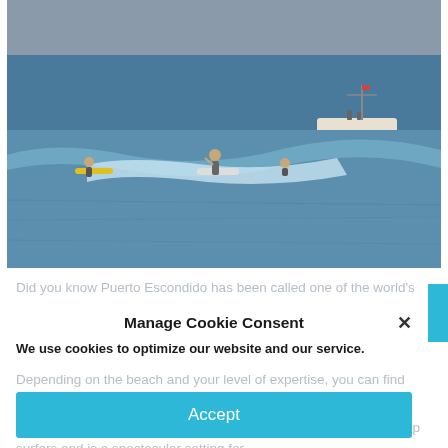[Figure (photo): Surfers riding waves in the ocean with a white motorboat visible in the background. The water is blue-green with visible wave crests. At least three surfers are visible on surfboards.]
Did you know Puerto Escondido has been called one of the world's top 10 surfing destinations?
Manage Cookie Consent
We use cookies to optimize our website and our service.
Depending on the beach and your level of expertise, you can find waves ranging between 1 and 10 feet tall.
Accept
Zicatela Beach in Puerto Escondido attracts some of the world's top surfers and is a spectacular setting for